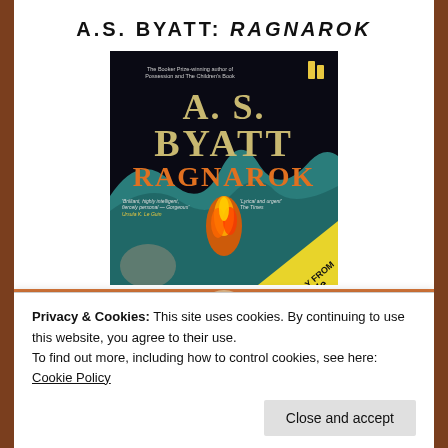A.S. BYATT: RAGNAROK
[Figure (photo): Book cover of 'Ragnarok' by A.S. Byatt, published as an Audible audiobook. Dark background with large gold/white text 'A.S. BYATT RAGNAROK'. Yellow diagonal banner in bottom-right corner reads 'ONLY FROM audible'. The cover features teal mountain shapes and fire imagery. Small text includes quotes: 'Brilliant, highly intelligent, fiercely personal — Gorgeous' and 'Lyrical and urgent — The Times'. Audible logo (two vertical bars) in top-right corner.]
Privacy & Cookies: This site uses cookies. By continuing to use this website, you agree to their use.
To find out more, including how to control cookies, see here: Cookie Policy
Close and accept